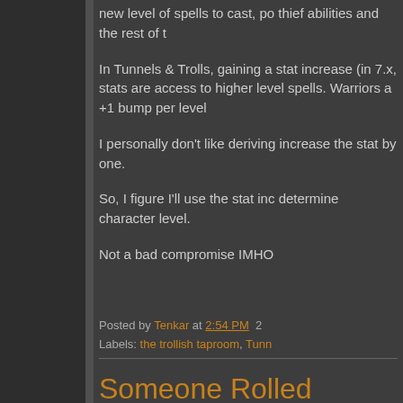new level of spells to cast, po thief abilities and the rest of t
In Tunnels & Trolls, gaining a stat increase (in 7.x, stats are access to higher level spells. Warriors a +1 bump per level
I personally don't like deriving increase the stat by one.
So, I figure I'll use the stat inc determine character level.
Not a bad compromise IMHO
Posted by Tenkar at 2:54 PM  2
Labels: the trollish taproom, Tunn
Someone Rolled